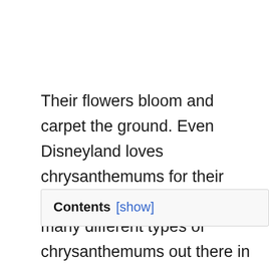Their flowers bloom and carpet the ground. Even Disneyland loves chrysanthemums for their beautiful blooms. There are many different types of chrysanthemums out there in the world, and each one is unique and gorgeous.
Contents [show]